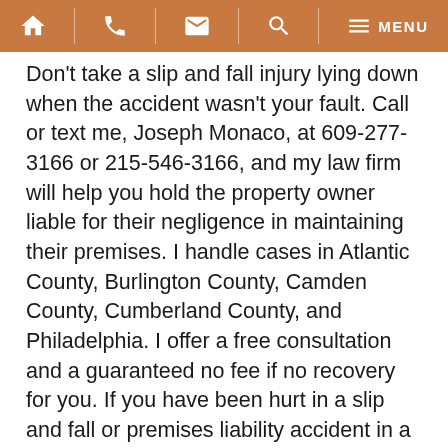Navigation bar with home, phone, email, search, and menu icons
Don't take a slip and fall injury lying down when the accident wasn't your fault. Call or text me, Joseph Monaco, at 609-277-3166 or 215-546-3166, and my law firm will help you hold the property owner liable for their negligence in maintaining their premises. I handle cases in Atlantic County, Burlington County, Camden County, Cumberland County, and Philadelphia. I offer a free consultation and a guaranteed no fee if no recovery for you. If you have been hurt in a slip and fall or premises liability accident in a New Jersey hardware or home improvement store, give me a call start your claim today.